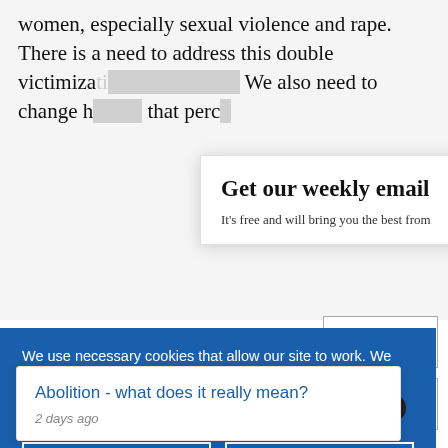women, especially sexual violence and rape. There is a need to address this double victimization... We also need to change h... that perc...
Get our weekly email
It's free and will bring you the best from
We use necessary cookies that allow our site to work. We also set optional cookies that help us improve our website. For more information about the types of cookies we use. READ OUR COOKIES POLICY HERE
COOKIE
ALLOW
Abolition - what does it really mean?
2 days ago
data.